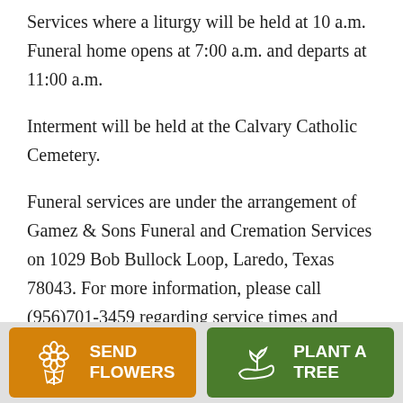Services where a liturgy will be held at 10 a.m. Funeral home opens at 7:00 a.m. and departs at 11:00 a.m.
Interment will be held at the Calvary Catholic Cemetery.
Funeral services are under the arrangement of Gamez & Sons Funeral and Cremation Services on 1029 Bob Bullock Loop, Laredo, Texas 78043. For more information, please call (956)701-3459 regarding service times and dates or you can view service information, sign the guestbook, pay your condolences
[Figure (other): Orange button with flower bouquet icon and text SEND FLOWERS]
[Figure (other): Green button with plant/tree icon and text PLANT A TREE]